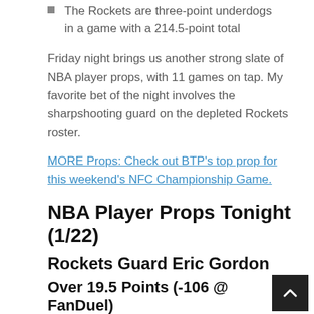The Rockets are three-point underdogs in a game with a 214.5-point total
Friday night brings us another strong slate of NBA player props, with 11 games on tap. My favorite bet of the night involves the sharpshooting guard on the depleted Rockets roster.
MORE Props: Check out BTP's top prop for this weekend's NFC Championship Game.
NBA Player Props Tonight (1/22)
Rockets Guard Eric Gordon
Over 19.5 Points (-106 @ FanDuel)
Line available as of publishing — playable to 20.5.